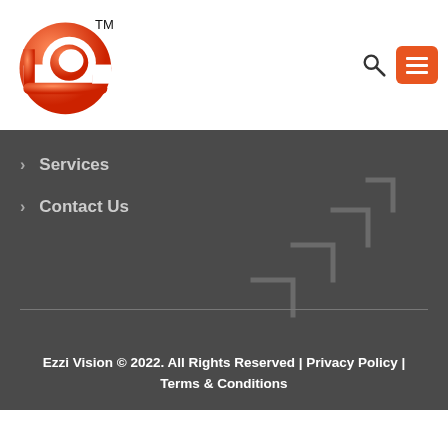[Figure (logo): Ezzi Vision company logo: orange stylized letter 'e' with TM mark]
> Services
> Contact Us
[Figure (illustration): Faint staircase/steps watermark graphic in background]
Ezzi Vision © 2022. All Rights Reserved | Privacy Policy | Terms & Conditions